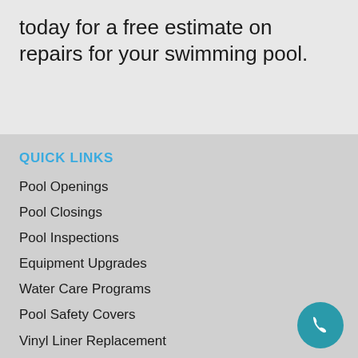today for a free estimate on repairs for your swimming pool.
QUICK LINKS
Pool Openings
Pool Closings
Pool Inspections
Equipment Upgrades
Water Care Programs
Pool Safety Covers
Vinyl Liner Replacement
Pool Maintenance & Repair